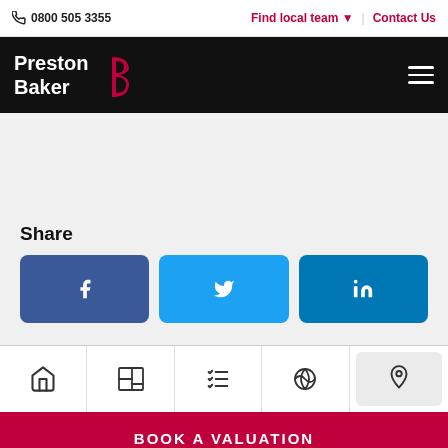0800 505 3355 | Find local team | Contact Us
[Figure (logo): Preston Baker logo - white text on black background with red B icon]
Share
[Figure (infographic): Social share buttons: Facebook, Twitter, LinkedIn]
[Figure (infographic): Bottom navigation icons: home, floor plan, checklist, 3D view, location pin (active)]
BOOK A VALUATION